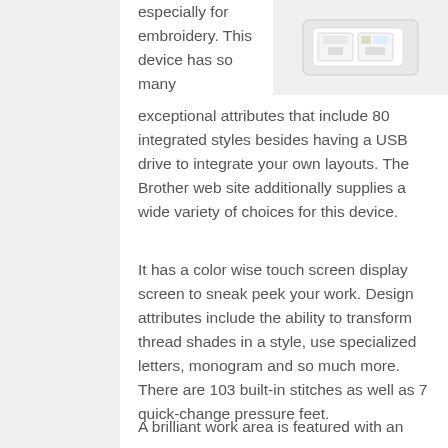[Figure (photo): White electronic device/USB drive product photo in top right corner]
especially for embroidery. This device has so many exceptional attributes that include 80 integrated styles besides having a USB drive to integrate your own layouts. The Brother web site additionally supplies a wide variety of choices for this device.
It has a color wise touch screen display screen to sneak peek your work. Design attributes include the ability to transform thread shades in a style, use specialized letters, monogram and so much more. There are 103 built-in stitches as well as 7 quick-change pressure feet.
A brilliant work area is featured with an